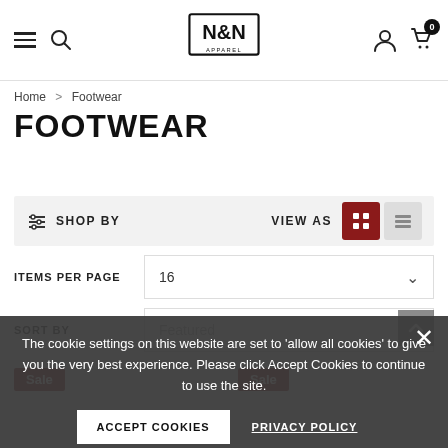N&N Apparel - Navigation header with hamburger menu, search, logo, user icon, cart (0 items)
Home > Footwear
FOOTWEAR
SHOP BY | VIEW AS
ITEMS PER PAGE  16
SORT BY  Featured
Sale
Sale
The cookie settings on this website are set to 'allow all cookies' to give you the very best experience. Please click Accept Cookies to continue to use the site.
ACCEPT COOKIES
PRIVACY POLICY